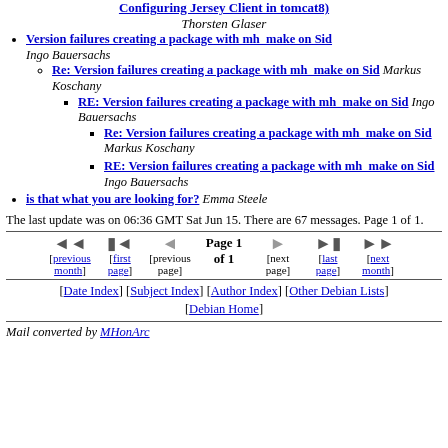Configuring Jersey Client in tomcat8) Thorsten Glaser
Version failures creating a package with mh_make on Sid — Ingo Bauersachs
Re: Version failures creating a package with mh_make on Sid — Markus Koschany
RE: Version failures creating a package with mh_make on Sid — Ingo Bauersachs
Re: Version failures creating a package with mh_make on Sid — Markus Koschany
RE: Version failures creating a package with mh_make on Sid — Ingo Bauersachs
is that what you are looking for? — Emma Steele
The last update was on 06:36 GMT Sat Jun 15. There are 67 messages. Page 1 of 1.
Page 1 of 1 — navigation: previous month, first page, previous page, next page, last page, next month
[Date Index] [Subject Index] [Author Index] [Other Debian Lists] [Debian Home]
Mail converted by MHonArc